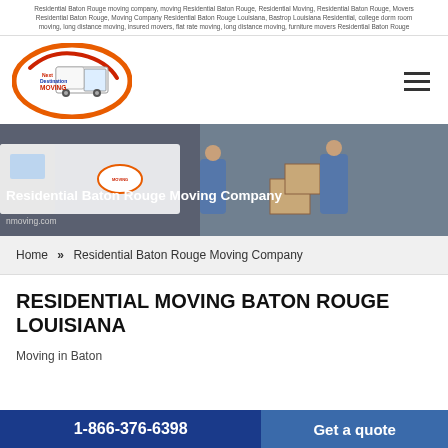Residential Baton Rouge moving company, moving Residential Baton Rouge, Residential Moving, Residential Baton Rouge, Movers Residential Baton Rouge, Moving Company Residential Baton Rouge Louisiana, Bastrop Louisiana Residential, college dorm room moving, long distance moving, insured movers, flat rate moving, long distance moving, furniture movers Residential Baton Rouge
[Figure (logo): Next Destination Moving company logo — oval shape with orange/red swirl, blue and red text on white truck]
[Figure (photo): Hero image of two movers in blue shirts handling cardboard boxes in front of a moving truck]
Residential Baton Rouge Moving Company
nmoving.com
Home » Residential Baton Rouge Moving Company
RESIDENTIAL MOVING BATON ROUGE LOUISIANA
Moving in Baton
1-866-376-6398
Get a quote